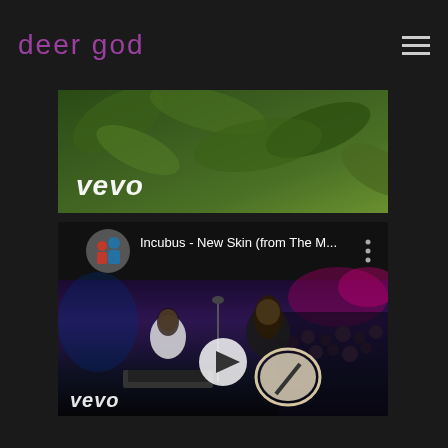deer god
[Figure (screenshot): Vevo banner with green jungle/tropical background and white Vevo logo text]
[Figure (screenshot): YouTube embedded video player showing Incubus - New Skin (from The M...) with Vevo branding. Video thumbnail shows a live concert performance with musicians on stage, play button in center, Vevo watermark at bottom left.]